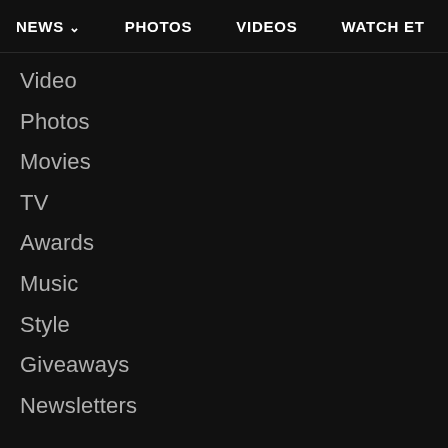NEWS ∨   PHOTOS   VIDEOS   WATCH ET
Video
Photos
Movies
TV
Awards
Music
Style
Giveaways
Newsletters
CONNECT WITH ET
Facebook
Instagram
Twitter
YouTube
RSS